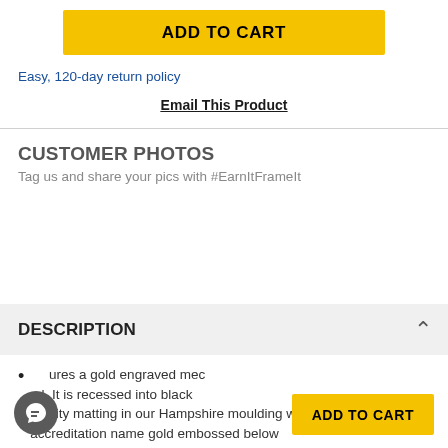[Figure (other): Yellow ADD TO CART button at top of page]
Easy, 120-day return policy
Email This Product
CUSTOMER PHOTOS
Tag us and share your pics with #EarnItFrameIt
DESCRIPTION
ures a gold engraved med... l. It is recessed into black... quality matting in our Hampshire moulding with the accreditation name gold embossed below
[Figure (other): Floating chat icon (grey circle with speech bubble) and ADD TO CART yellow button overlay at bottom]